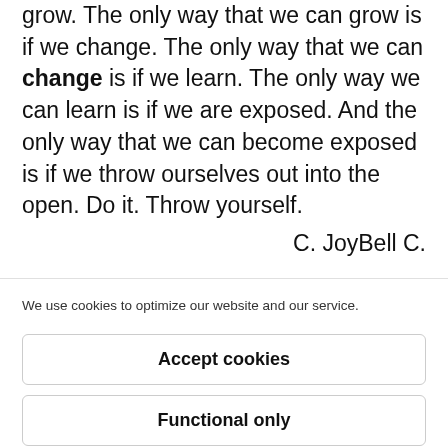grow. The only way that we can grow is if we change. The only way that we can change is if we learn. The only way we can learn is if we are exposed. And the only way that we can become exposed is if we throw ourselves out into the open. Do it. Throw yourself.
C. JoyBell C.
We use cookies to optimize our website and our service.
Accept cookies
Functional only
Cookie Policy   Terms & Conditions